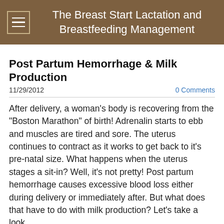The Breast Start Lactation and Breastfeeding Management
Post Partum Hemorrhage & Milk Production
11/29/2012
0 Comments
After delivery, a woman's body is recovering from the "Boston Marathon" of birth! Adrenalin starts to ebb and muscles are tired and sore. The uterus continues to contract as it works to get back to it's pre-natal size. What happens when the uterus stages a sit-in? Well, it's not pretty! Post partum hemorrhage causes excessive blood loss either during delivery or immediately after. But what does that have to do with milk production? Let's take a look.
The pituitary gland is responsible for secreting prolactin and oxytocin, two hormones essential for milk production and milk ejection. After a post partum